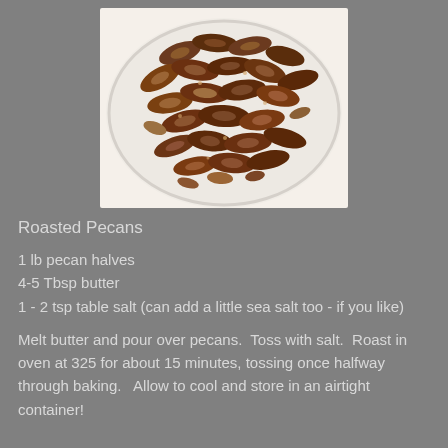[Figure (photo): A white plate piled with roasted pecan halves, viewed from above. The pecans are dark brown and glossy, scattered densely on the plate.]
Roasted Pecans
1 lb pecan halves
4-5 Tbsp butter
1 - 2 tsp table salt (can add a little sea salt too - if you like)
Melt butter and pour over pecans.  Toss with salt.  Roast in oven at 325 for about 15 minutes, tossing once halfway through baking.   Allow to cool and store in an airtight container!